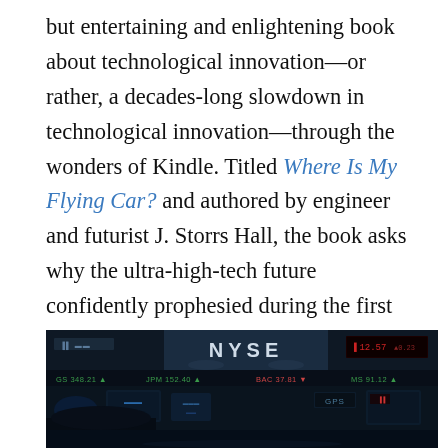but entertaining and enlightening book about technological innovation—or rather, a decades-long slowdown in technological innovation—through the wonders of Kindle. Titled Where Is My Flying Car? and authored by engineer and futurist J. Storrs Hall, the book asks why the ultra-high-tech future confidently prophesied during the first two-thirds of the twentieth century—the future depicted in the popular 1960s cartoon The Jetsons, to use Hall's metaphor—has never come to pass.
[Figure (photo): A photograph of the NYSE (New York Stock Exchange) trading floor with electronic displays, a ticker tape board showing NYSE signage, and trading screens. The image is dimly lit with blue and red electronic display lighting.]